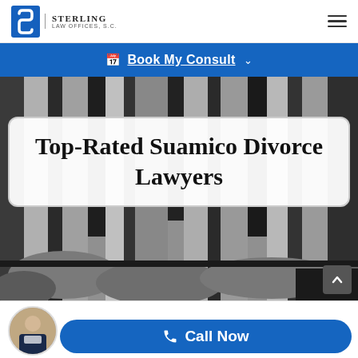Sterling Law Offices, S.C.
Book My Consult
Top-Rated Suamico Divorce Lawyers
[Figure (photo): Black and white background photo of columns or logs]
Sterling Law Offices, S.C.
Call Now